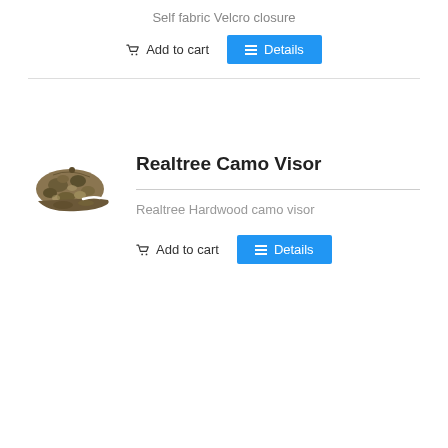Self fabric Velcro closure
Add to cart
Details
Realtree Camo Visor
[Figure (photo): Realtree camouflage visor hat]
Realtree Hardwood camo visor
Add to cart
Details